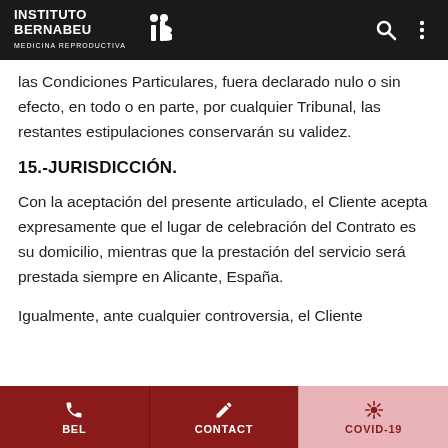Instituto Bernabeu – Medicina Reproductiva
las Condiciones Particulares, fuera declarado nulo o sin efecto, en todo o en parte, por cualquier Tribunal, las restantes estipulaciones conservarán su validez.
15.-JURISDICCIÓN.
Con la aceptación del presente articulado, el Cliente acepta expresamente que el lugar de celebración del Contrato es su domicilio, mientras que la prestación del servicio será prestada siempre en Alicante, España.
Igualmente, ante cualquier controversia, el Cliente
BEL  CONTACT  COVID-19